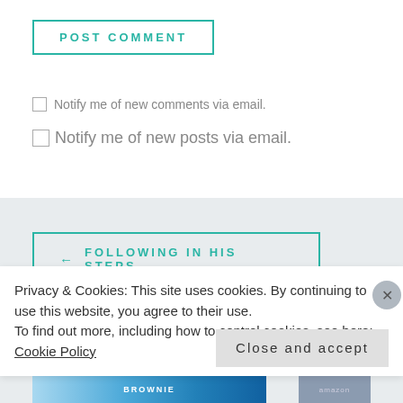[Figure (screenshot): POST COMMENT button with teal border]
Notify me of new comments via email.
Notify me of new posts via email.
[Figure (screenshot): Navigation button: ← FOLLOWING IN HIS STEPS]
Privacy & Cookies: This site uses cookies. By continuing to use this website, you agree to their use. To find out more, including how to control cookies, see here: Cookie Policy
Close and accept